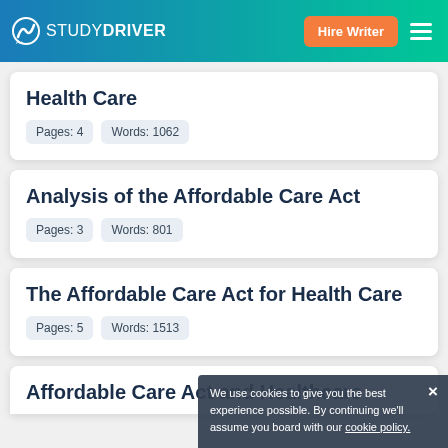STUDYDRIVER — Hire Writer
Health Care
Pages: 4   Words: 1062
Analysis of the Affordable Care Act
Pages: 3   Words: 801
The Affordable Care Act for Health Care
Pages: 5   Words: 1513
We use cookies to give you the best experience possible. By continuing we'll assume you board with our cookie policy.
Affordable Care Act and Healthcare